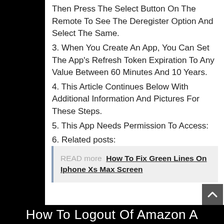Then Press The Select Button On The Remote To See The Deregister Option And Select The Same.
3. When You Create An App, You Can Set The App's Refresh Token Expiration To Any Value Between 60 Minutes And 10 Years.
4. This Article Continues Below With Additional Information And Pictures For These Steps.
5. This App Needs Permission To Access:
6. Related posts:
READ more  How To Fix Green Lines On Iphone Xs Max Screen